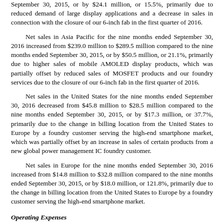September 30, 2015, or by $24.1 million, or 15.5%, primarily due to reduced demand of large display applications and a decrease in sales in connection with the closure of our 6-inch fab in the first quarter of 2016.
Net sales in Asia Pacific for the nine months ended September 30, 2016 increased from $239.0 million to $289.5 million compared to the nine months ended September 30, 2015, or by $50.5 million, or 21.1%, primarily due to higher sales of mobile AMOLED display products, which was partially offset by reduced sales of MOSFET products and our foundry services due to the closure of our 6-inch fab in the first quarter of 2016.
Net sales in the United States for the nine months ended September 30, 2016 decreased from $45.8 million to $28.5 million compared to the nine months ended September 30, 2015, or by $17.3 million, or 37.7%, primarily due to the change in billing location from the United States to Europe by a foundry customer serving the high-end smartphone market, which was partially offset by an increase in sales of certain products from a new global power management IC foundry customer.
Net sales in Europe for the nine months ended September 30, 2016 increased from $14.8 million to $32.8 million compared to the nine months ended September 30, 2015, or by $18.0 million, or 121.8%, primarily due to the change in billing location from the United States to Europe by a foundry customer serving the high-end smartphone market.
Operating Expenses
Selling, General and Administrative Expenses. Selling, general, and administrative expenses were $66.0 million, or 13.0% of net sales, for the nine